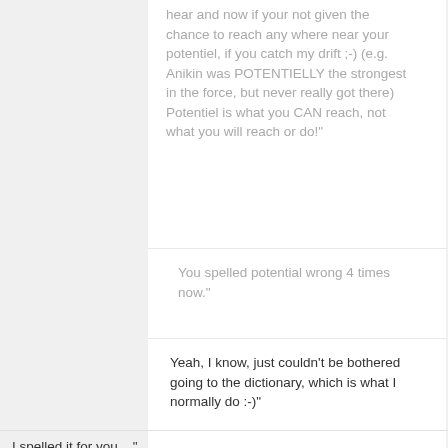hear and now if your not given the chance to reach any where near your potentiel, if you catch my drift ;-) (e.g. Anikin was POTENTIELLY the strongest in the force, but never really got there) Potentiel is what you CAN reach, not what you will reach or do!"
You spelled potential wrong 4 times now."
Yeah, I know, just couldn't be bothered going to the dictionary, which is what I normally do :-)"
I spelled it for you...."